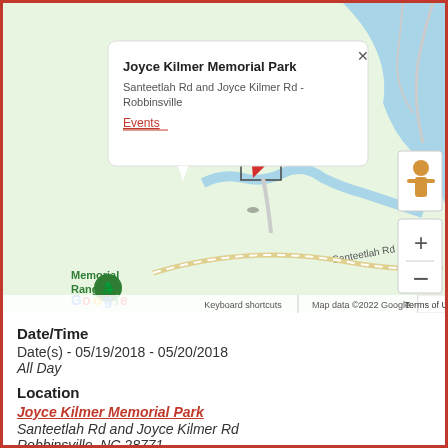[Figure (map): Google Maps screenshot showing Joyce Kilmer Memorial Park location at Santeetlah Rd and Joyce Kilmer Rd, Robbinsville, NC. A popup balloon shows the park name and an 'Events' link. Map includes labels for Memorial Ranger, Rattler Ford Campground Cheoa, and Santeetlah Rd. Google logo, keyboard shortcuts, map data notice, and Terms of Use visible at bottom.]
Date/Time
Date(s) - 05/19/2018 - 05/20/2018
All Day
Location
Joyce Kilmer Memorial Park
Santeetlah Rd and Joyce Kilmer Rd
Robbinsville, NC 28771